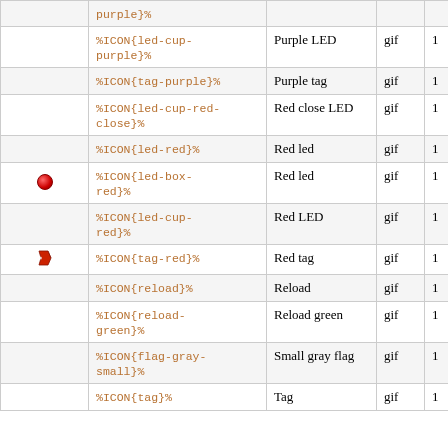| (icon) | Markup | Description | Type | Size |
| --- | --- | --- | --- | --- |
|  | %ICON{led-cup-purple}% | Purple LED | gif | 1 |
|  | %ICON{tag-purple}% | Purple tag | gif | 1 |
|  | %ICON{led-cup-red-close}% | Red close LED | gif | 1 |
|  | %ICON{led-red}% | Red led | gif | 1 |
| [red led box icon] | %ICON{led-box-red}% | Red led | gif | 1 |
|  | %ICON{led-cup-red}% | Red LED | gif | 1 |
| [red tag icon] | %ICON{tag-red}% | Red tag | gif | 1 |
|  | %ICON{reload}% | Reload | gif | 1 |
|  | %ICON{reload-green}% | Reload green | gif | 1 |
|  | %ICON{flag-gray-small}% | Small gray flag | gif | 1 |
|  | %ICON{tag}% | Tag | gif | 1 |